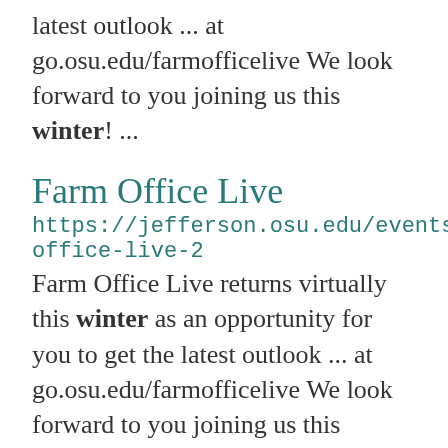latest outlook ... at go.osu.edu/farmofficelive We look forward to you joining us this winter! ...
Farm Office Live
https://jefferson.osu.edu/events/farm-office-live-2
Farm Office Live returns virtually this winter as an opportunity for you to get the latest outlook ... at go.osu.edu/farmofficelive We look forward to you joining us this winter! ...
Farm Office Live
https://jefferson.osu.edu/events/farm-office-live-1
Farm Office Live returns virtually this ...